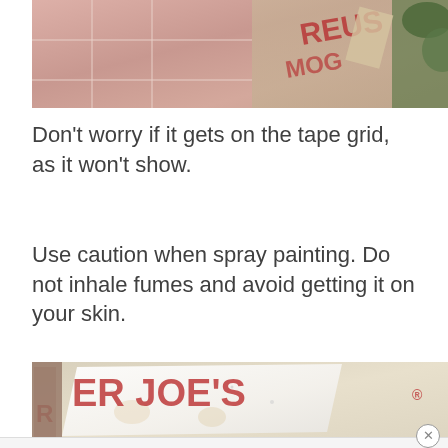[Figure (photo): Top portion of a photo showing a spray-painted pink/rose colored object with a tape grid, with greenery visible at the right edge and partial text visible]
Don't worry if it gets on the tape grid, as it won't show.
Use caution when spray painting. Do not inhale fumes and avoid getting it on your skin.
[Figure (photo): Photo of a white/silver spray-painted cardboard box (Trader Joe's box) showing the glittery white painted surface against the cardboard background with red text visible]